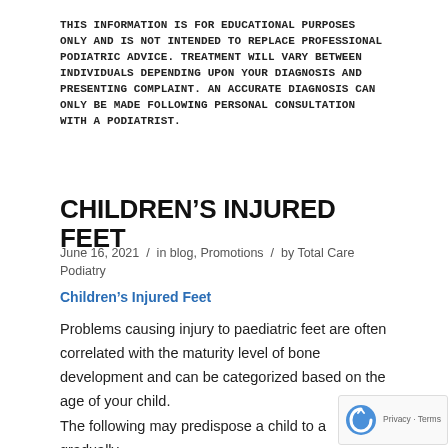THIS INFORMATION IS FOR EDUCATIONAL PURPOSES ONLY AND IS NOT INTENDED TO REPLACE PROFESSIONAL PODIATRIC ADVICE. TREATMENT WILL VARY BETWEEN INDIVIDUALS DEPENDING UPON YOUR DIAGNOSIS AND PRESENTING COMPLAINT. AN ACCURATE DIAGNOSIS CAN ONLY BE MADE FOLLOWING PERSONAL CONSULTATION WITH A PODIATRIST.
CHILDREN'S INJURED FEET
June 16, 2021 / in blog, Promotions / by Total Care Podiatry
Children's Injured Feet
Problems causing injury to paediatric feet are often correlated with the maturity level of bone development and can be categorized based on the age of your child.
The following may predispose a child to a gradually